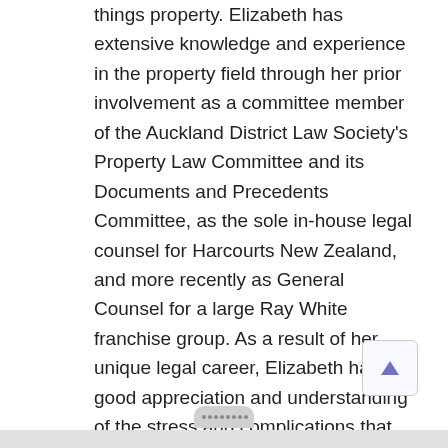things property. Elizabeth has extensive knowledge and experience in the property field through her prior involvement as a committee member of the Auckland District Law Society's Property Law Committee and its Documents and Precedents Committee, as the sole in-house legal counsel for Harcourts New Zealand, and more recently as General Counsel for a large Ray White franchise group. As a result of her unique legal career, Elizabeth has a good appreciation and understanding of the stress and complications that may arise in a property deal and the various implications for vendors, purchasers, and agents.